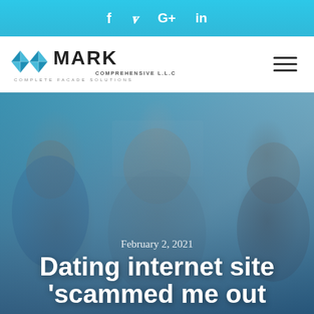f  🐦  G+  in
[Figure (logo): Mark Comprehensive LLC logo with geometric blue diamond icon, text MARK COMPREHENSIVE L.L.C and tagline COMPLETE FACADE SOLUTIONS]
[Figure (photo): Three people smiling and talking in a bright office setting, overlaid with blue tint]
February 2, 2021
Dating internet site 'scammed me out